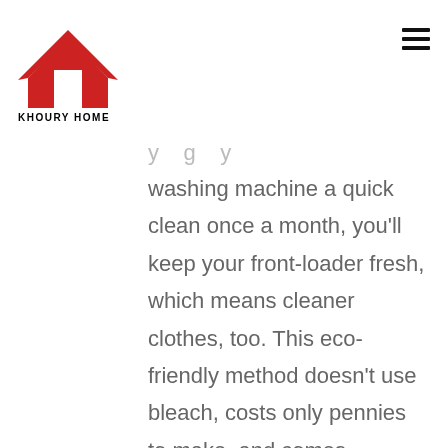[Figure (logo): Khoury Home logo: red house shape with white door cutout, bold text 'KHOURY HOME' below]
washing machine a quick clean once a month, you'll keep your front-loader fresh, which means cleaner clothes, too. This eco-friendly method doesn't use bleach, costs only pennies to make, and comes together with ingredients you already have on hand.